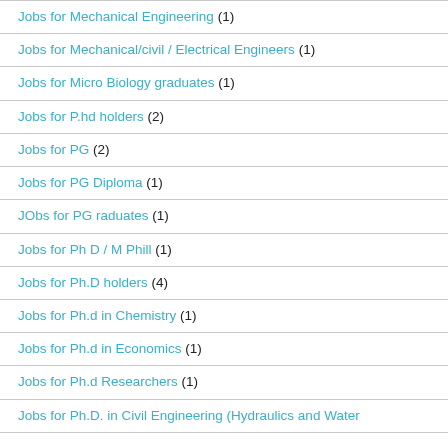Jobs for Mechanical Engineering (1)
Jobs for Mechanical/civil / Electrical Engineers (1)
Jobs for Micro Biology graduates (1)
Jobs for P.hd holders (2)
Jobs for PG (2)
Jobs for PG Diploma (1)
JObs for PG raduates (1)
Jobs for Ph D / M Phill (1)
Jobs for Ph.D holders (4)
Jobs for Ph.d in Chemistry (1)
Jobs for Ph.d in Economics (1)
Jobs for Ph.d Researchers (1)
Jobs for Ph.D. in Civil Engineering (Hydraulics and Water